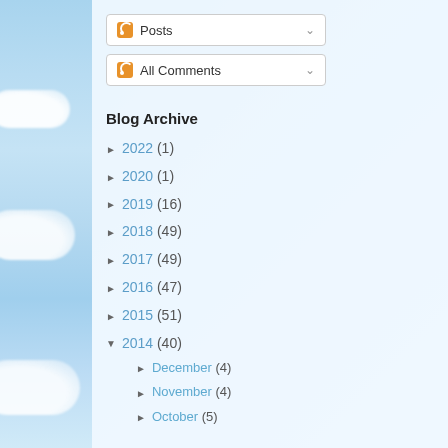Posts
All Comments
Blog Archive
► 2022 (1)
► 2020 (1)
► 2019 (16)
► 2018 (49)
► 2017 (49)
► 2016 (47)
► 2015 (51)
▼ 2014 (40)
► December (4)
► November (4)
► October (5)